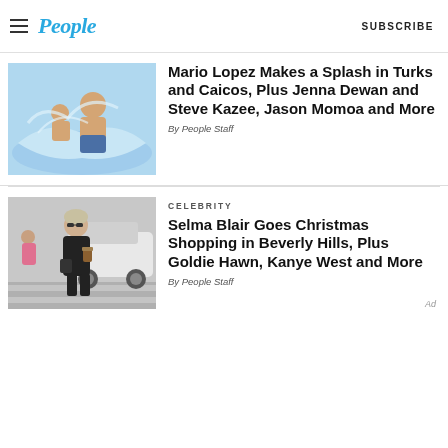People | SUBSCRIBE
[Figure (photo): Man and child splashing in water]
Mario Lopez Makes a Splash in Turks and Caicos, Plus Jenna Dewan and Steve Kazee, Jason Momoa and More
By People Staff
[Figure (photo): Selma Blair walking in Beverly Hills wearing black, holding a coffee cup]
CELEBRITY
Selma Blair Goes Christmas Shopping in Beverly Hills, Plus Goldie Hawn, Kanye West and More
By People Staff